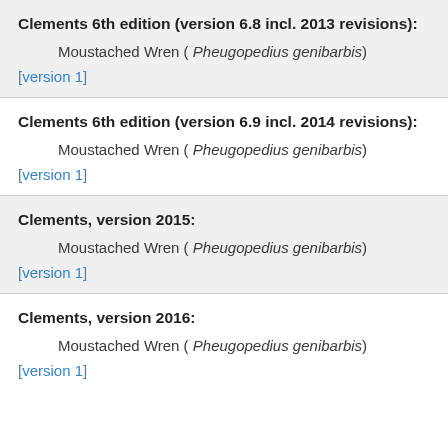Clements 6th edition (version 6.8 incl. 2013 revisions):
Moustached Wren ( Pheugopedius genibarbis)
[version 1]
Clements 6th edition (version 6.9 incl. 2014 revisions):
Moustached Wren ( Pheugopedius genibarbis)
[version 1]
Clements, version 2015:
Moustached Wren ( Pheugopedius genibarbis)
[version 1]
Clements, version 2016:
Moustached Wren ( Pheugopedius genibarbis)
[version 1]